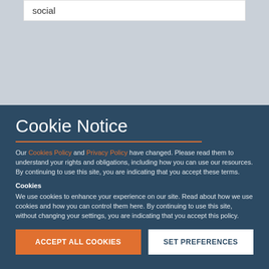social
Cookie Notice
Our Cookies Policy and Privacy Policy have changed. Please read them to understand your rights and obligations, including how you can use our resources. By continuing to use this site, you are indicating that you accept these terms.
Cookies
We use cookies to enhance your experience on our site. Read about how we use cookies and how you can control them here. By continuing to use this site, without changing your settings, you are indicating that you accept this policy.
ACCEPT ALL COOKIES
SET PREFERENCES